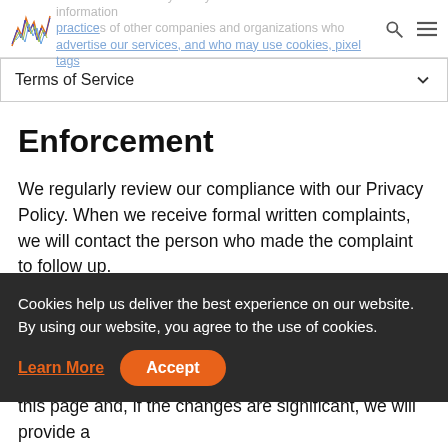services. Our Privacy Policy does not cover the information practices of other companies and organizations who advertise our services, and who may use cookies, pixel tags
Terms of Service
Enforcement
We regularly review our compliance with our Privacy Policy. When we receive formal written complaints, we will contact the person who made the complaint to follow up.
Cookies help us deliver the best experience on our website. By using our website, you agree to the use of cookies.
Learn More   Accept
this page and, if the changes are significant, we will provide a